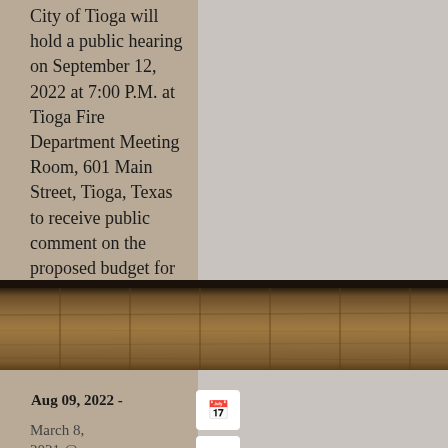City of Tioga will hold a public hearing on September 12, 2022 at 7:00 P.M. at Tioga Fire Department Meeting Room, 601 Main Street, Tioga, Texas to receive public comment on the proposed budget for the 2022-2023 fiscal year.
[Figure (photo): Close-up photograph of wooden planks or timber beams, showing wood grain and texture in brown tones.]
Aug 09, 2022 -
March 8, 2021 @ 7:00 pm